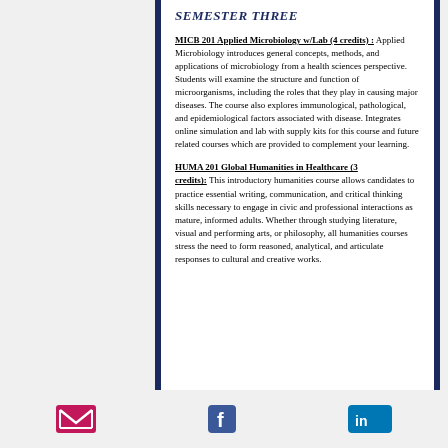SEMESTER THREE
MICB 201 Applied Microbiology w/Lab (4 credits): Applied Microbiology introduces general concepts, methods, and applications of microbiology from a health sciences perspective. Students will examine the structure and function of microorganisms, including the roles that they play in causing major diseases. The course also explores immunological, pathological, and epidemiological factors associated with disease. Integrates online simulation and lab with supply kits for this course and future related courses which are provided to complement your learning.
HUMA 201 Global Humanities in Healthcare (3 credits): This introductory humanities course allows candidates to practice essential writing, communication, and critical thinking skills necessary to engage in civic and professional interactions as mature, informed adults. Whether through studying literature, visual and performing arts, or philosophy, all humanities courses stress the need to form reasoned, analytical, and articulate responses to cultural and creative works.
[Figure (illustration): Footer with email icon (pink envelope), Facebook icon (blue f), and LinkedIn icon (blue 'in') arranged horizontally]